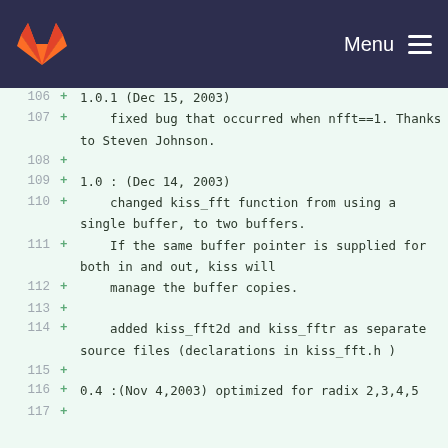GitLab logo | Menu
106  + 1.0.1 (Dec 15, 2003)
107  +     fixed bug that occurred when nfft==1. Thanks to Steven Johnson.
108  +
109  + 1.0 : (Dec 14, 2003)
110  +     changed kiss_fft function from using a single buffer, to two buffers.
111  +     If the same buffer pointer is supplied for both in and out, kiss will
112  +     manage the buffer copies.
113  +
114  +     added kiss_fft2d and kiss_fftr as separate source files (declarations in kiss_fft.h )
115  +
116  + 0.4 :(Nov 4,2003) optimized for radix 2,3,4,5
117  +